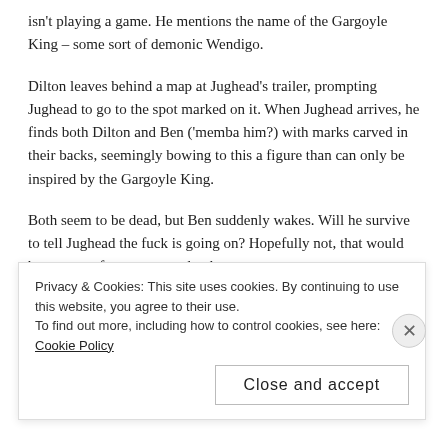isn't playing a game. He mentions the name of the Gargoyle King – some sort of demonic Wendigo.
Dilton leaves behind a map at Jughead's trailer, prompting Jughead to go to the spot marked on it. When Jughead arrives, he finds both Dilton and Ben ('memba him?) with marks carved in their backs, seemingly bowing to this a figure than can only be inspired by the Gargoyle King.
Both seem to be dead, but Ben suddenly wakes. Will he survive to tell Jughead the fuck is going on? Hopefully not, that would be too easy for our super-sleuths.
While that would often be enough to close out an episode on an
Privacy & Cookies: This site uses cookies. By continuing to use this website, you agree to their use.
To find out more, including how to control cookies, see here: Cookie Policy
Close and accept